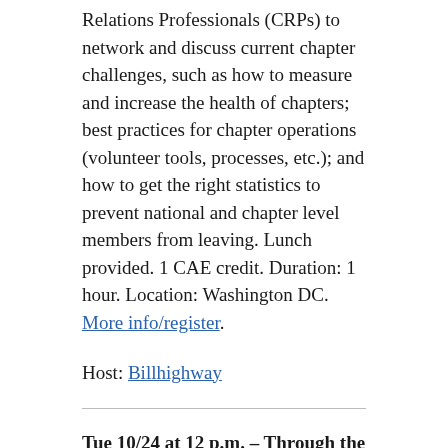Relations Professionals (CRPs) to network and discuss current chapter challenges, such as how to measure and increase the health of chapters; best practices for chapter operations (volunteer tools, processes, etc.); and how to get the right statistics to prevent national and chapter level members from leaving. Lunch provided. 1 CAE credit. Duration: 1 hour. Location: Washington DC. More info/register.
Host: Billhighway
Tue 10/24 at 12 p.m. – Through the Looking-Glass: Magnifying Your Government Affairs Impact beyond DC (Idea Swap – Washington